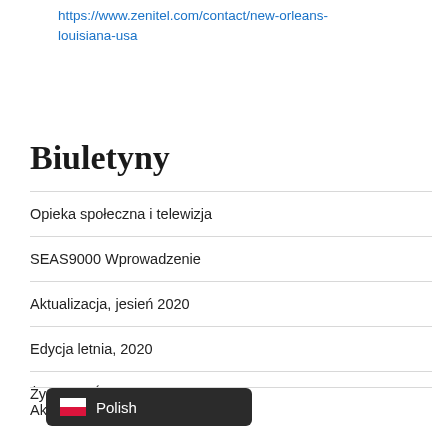https://www.zenitel.com/contact/new-orleans-louisiana-usa
Biuletyny
Opieka społeczna i telewizja
SEAS9000 Wprowadzenie
Aktualizacja, jesień 2020
Edycja letnia, 2020
Życzenia Świąteczne 2019
Ak...eń 2019
[Figure (other): Polish language selector badge with Polish flag icon and text 'Polish']